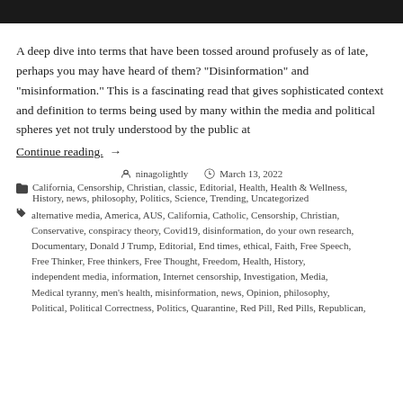[Figure (photo): Top portion of an image, dark/black strip visible at top of page]
A deep dive into terms that have been tossed around profusely as of late, perhaps you may have heard of them? "Disinformation" and "misinformation." This is a fascinating read that gives sophisticated context and definition to terms being used by many within the media and political spheres yet not truly understood by the public at
Continue reading. →
ninagolightly   March 13, 2022
California, Censorship, Christian, classic, Editorial, Health, Health & Wellness, History, news, philosophy, Politics, Science, Trending, Uncategorized
alternative media, America, AUS, California, Catholic, Censorship, Christian, Conservative, conspiracy theory, Covid19, disinformation, do your own research, Documentary, Donald J Trump, Editorial, End times, ethical, Faith, Free Speech, Free Thinker, Free thinkers, Free Thought, Freedom, Health, History, independent media, information, Internet censorship, Investigation, Media, Medical tyranny, men's health, misinformation, news, Opinion, philosophy, Political, Political Correctness, Politics, Quarantine, Red Pill, Red Pills, Republican,